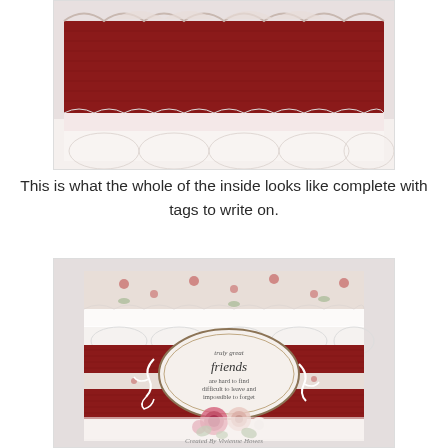[Figure (photo): Close-up photo of handmade craft card interior showing dark red corrugated cardstock with white scalloped lace trim and decorative paper elements on a light background.]
This is what the whole of the inside looks like complete with tags to write on.
[Figure (photo): Photo of a handmade greeting card with floral fabric paper, red corrugated cardstock bands, white scalloped lace trim, decorative white die-cut flourishes, an oval sentiment label reading 'truly great friends are hard to find difficult to leave and impossible to forget', and paper roses. Watermark at bottom reads 'Created By Vivienne Howes'.]